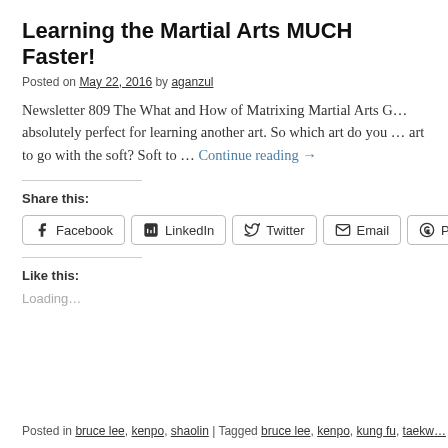Learning the Martial Arts MUCH Faster!
Posted on May 22, 2016 by aganzul
Newsletter 809 The What and How of Matrixing Martial Arts G… absolutely perfect for learning another art. So which art do you … art to go with the soft? Soft to … Continue reading →
Share this:
Facebook LinkedIn Twitter Email Pinterest
Like this:
Loading...
Posted in bruce lee, kenpo, shaolin | Tagged bruce lee, kenpo, kung fu, taekw…